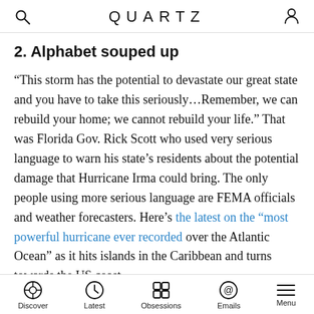QUARTZ
2. Alphabet souped up
“This storm has the potential to devastate our great state and you have to take this seriously…Remember, we can rebuild your home; we cannot rebuild your life.” That was Florida Gov. Rick Scott who used very serious language to warn his state’s residents about the potential damage that Hurricane Irma could bring. The only people using more serious language are FEMA officials and weather forecasters. Here’s the latest on the “most powerful hurricane ever recorded over the Atlantic Ocean” as it hits islands in the Caribbean and turns towards the US coast.
+ Just look at this video of Irma blasting St. Martin with
Discover  Latest  Obsessions  Emails  Menu